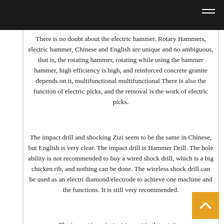There is no doubt about the electric hammer. Rotary Hammers, electric hammer, Chinese and English are unique and no ambiguous, that is, the rotating hammer, rotating while using the hammer hammer, high efficiency is high, and reinforced concrete granite depends on it, multifunctional multifunctional There is also the function of electric picks, and the removal is the work of electric picks.
The impact drill and shocking Zizi seem to be the same in Chinese, but English is very clear. The impact drill is Hammer Drill. The hole ability is not recommended to buy a wired shock drill, which is a big chicken rib, and nothing can be done. The wireless shock drill can be used as an electric diamond/electrode to achieve one machine and the functions. It is still very recommended.
The impact is an instant impact in the rotation